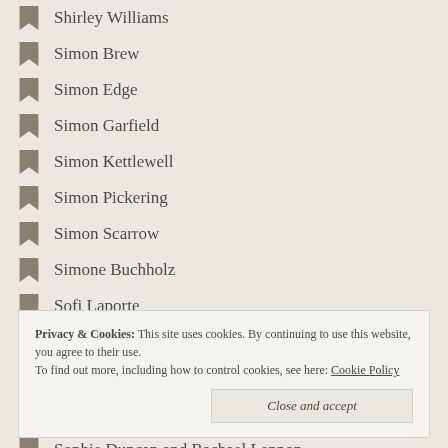Shirley Williams
Simon Brew
Simon Edge
Simon Garfield
Simon Kettlewell
Simon Pickering
Simon Scarrow
Simone Buchholz
Sofi Laporte
Sofia Due
Sophia Holloway
Sophie Duffy
Sophie Duncan and Rachael Lennon
Privacy & Cookies: This site uses cookies. By continuing to use this website, you agree to their use.
To find out more, including how to control cookies, see here: Cookie Policy
Stella Duffy